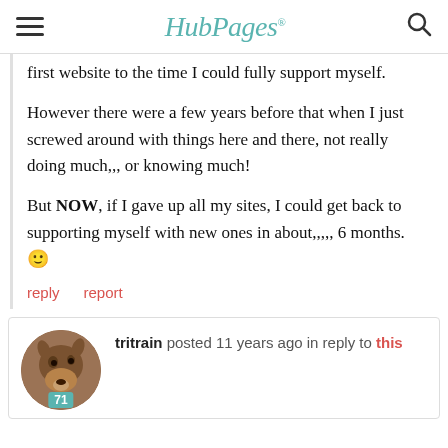HubPages
first website to the time I could fully support myself.

However there were a few years before that when I just screwed around with things here and there, not really doing much,,, or knowing much!

But NOW, if I gave up all my sites, I could get back to supporting myself with new ones in about,,,,, 6 months. 🙂
reply   report
tritrain posted 11 years ago in reply to this